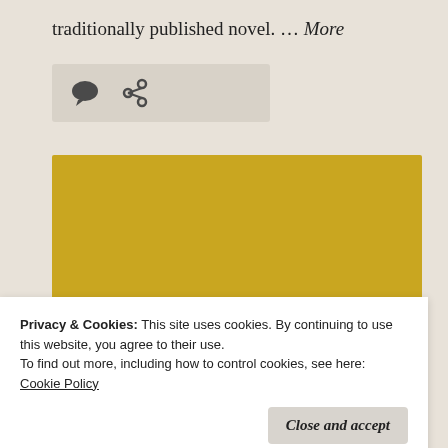traditionally published novel. … More
[Figure (other): Icon bar with comment bubble and share/link icons on a light beige background]
[Figure (other): Gold/yellow book cover image with white typewriter-font text reading 'Why I Write #216' and partial subtitle below]
Privacy & Cookies: This site uses cookies. By continuing to use this website, you agree to their use.
To find out more, including how to control cookies, see here:
Cookie Policy
Close and accept